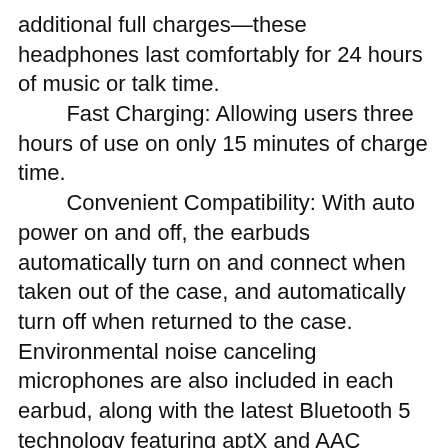additional full charges—these headphones last comfortably for 24 hours of music or talk time.
Fast Charging: Allowing users three hours of use on only 15 minutes of charge time.
Convenient Compatibility: With auto power on and off, the earbuds automatically turn on and connect when taken out of the case, and automatically turn off when returned to the case. Environmental noise canceling microphones are also included in each earbud, along with the latest Bluetooth 5 technology featuring aptX and AAC transmission compatible with Android and iOS.
Pairing Modes: Multiple paring modes means using the earbuds together for an immersive listening experience, or freedom to use the left or right earbuds individually to match personal